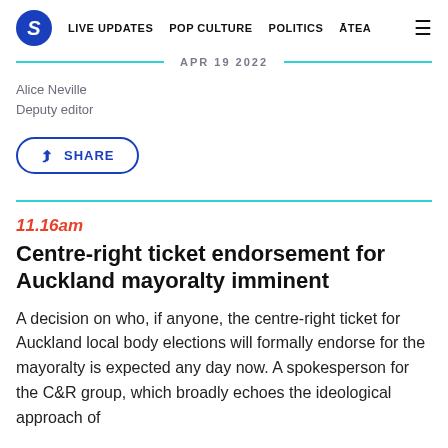S  LIVE UPDATES  POP CULTURE  POLITICS  ĀTEA  ≡
APR 19 2022
Alice Neville
Deputy editor
SHARE
11.16am
Centre-right ticket endorsement for Auckland mayoralty imminent
A decision on who, if anyone, the centre-right ticket for Auckland local body elections will formally endorse for the mayoralty is expected any day now. A spokesperson for the C&R group, which broadly echoes the ideological approach of